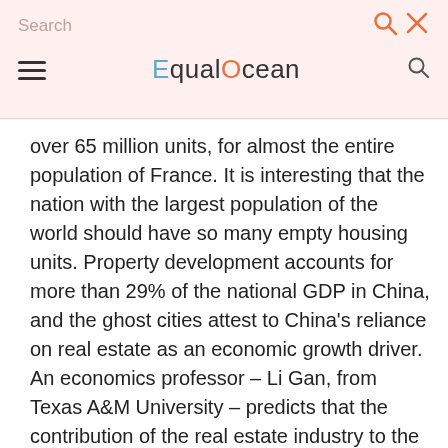Search | EqualOcean
over 65 million units, for almost the entire population of France. It is interesting that the nation with the largest population of the world should have so many empty housing units. Property development accounts for more than 29% of the national GDP in China, and the ghost cities attest to China's reliance on real estate as an economic growth driver. An economics professor – Li Gan, from Texas A&M University – predicts that the contribution of the real estate industry to the GDP could fall to around 15% after imposing tightening measures and the downward pressure of supply and the demand